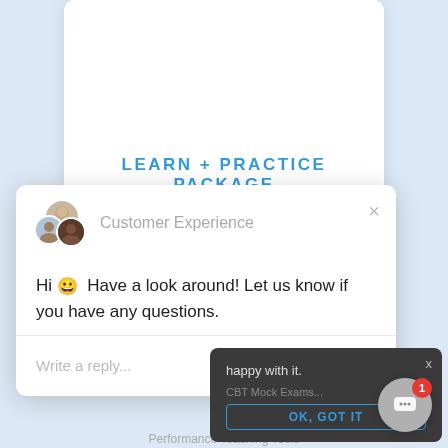[Figure (screenshot): Screenshot of a website page showing a 'LEARN + PRACTICE PACKAGE' heading in blue, overlaid by a customer experience chat popup with avatars, a greeting message, reply input, and a dark tooltip with 'OK, GOT IT' button. A floating chat button with notification badge is in the bottom right.]
LEARN + PRACTICE PACKAGE
Customer Experience
Hi 😀 Have a look around! Let us know if you have any questions.
Write a reply...
happy with it.
CBT Mock Exams...
OK, GOT IT